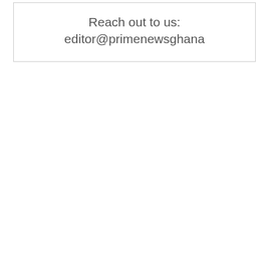Reach out to us: editor@primenewsghana